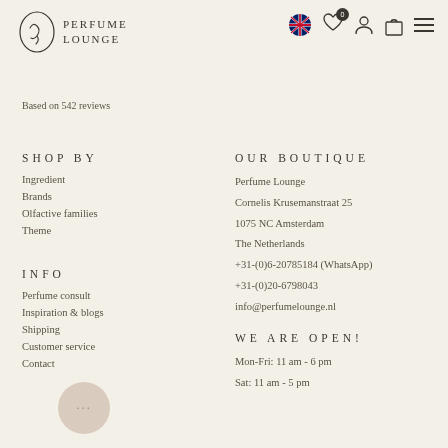Perfume Lounge
Based on 542 reviews
SHOP BY
Ingredient
Brands
Olfactive families
Theme
INFO
Perfume consult
Inspiration & blogs
Shipping
Customer service
Contact
OUR BOUTIQUE
Perfume Lounge
Cornelis Krusemanstraat 25
1075 NC Amsterdam
The Netherlands
+31-(0)6-20785184 (WhatsApp)
+31-(0)20-6798043
info@perfumelounge.nl
WE ARE OPEN!
Mon-Fri: 11 am - 6 pm
Sat: 11 am - 5 pm